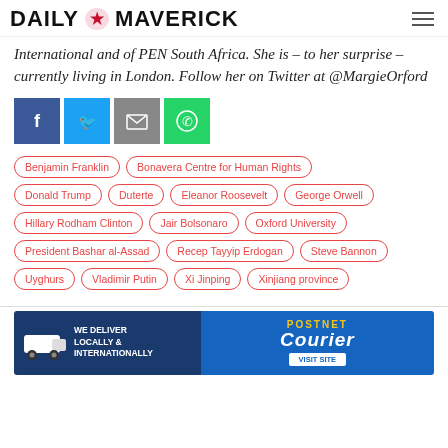DAILY MAVERICK
International and of PEN South Africa. She is – to her surprise – currently living in London. Follow her on Twitter at @MargieOrford
[Figure (infographic): Social share buttons: Facebook (blue), Twitter (light blue), Email (grey), WhatsApp (green)]
Benjamin Franklin
Bonavera Centre for Human Rights
Donald Trump
Duterte
Eleanor Roosevelt
George Orwell
Hillary Rodham Clinton
Jair Bolsonaro
Oxford University
President Bashar al-Assad
Recep Tayyip Erdogan
Steve Bannon
Uyghurs
Vladimir Putin
Xi Jinping
Xinjiang province
[Figure (infographic): PostNet Courier advertisement banner: 'WE DELIVER LOCALLY & INTERNATIONALLY' on blue background with truck graphic, PostNet Courier logo and VISIT SITE button]